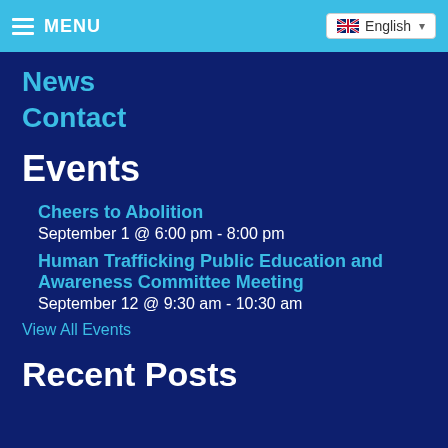MENU | English
News
Contact
Events
Cheers to Abolition
September 1 @ 6:00 pm - 8:00 pm
Human Trafficking Public Education and Awareness Committee Meeting
September 12 @ 9:30 am - 10:30 am
View All Events
Recent Posts